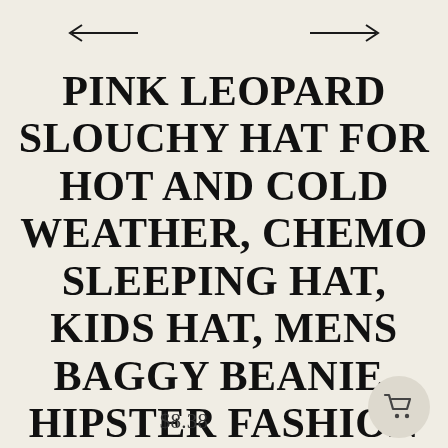[Figure (other): Navigation arrows: left arrow on the left, right arrow on the right]
PINK LEOPARD SLOUCHY HAT FOR HOT AND COLD WEATHER, CHEMO SLEEPING HAT, KIDS HAT, MENS BAGGY BEANIE, HIPSTER FASHION KIDS HAT
$8.38
[Figure (other): Shopping cart icon in a circular button]